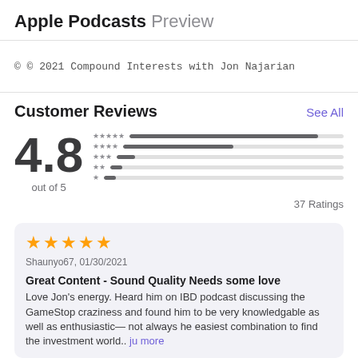Apple Podcasts Preview
© © 2021 Compound Interests with Jon Najarian
Customer Reviews
4.8 out of 5
37 Ratings
★★★★★ Shaunyo67, 01/30/2021
Great Content - Sound Quality Needs some love
Love Jon's energy. Heard him on IBD podcast discussing the GameStop craziness and found him to be very knowledgable as well as enthusiastic— not always he easiest combination to find the investment world.. ju more